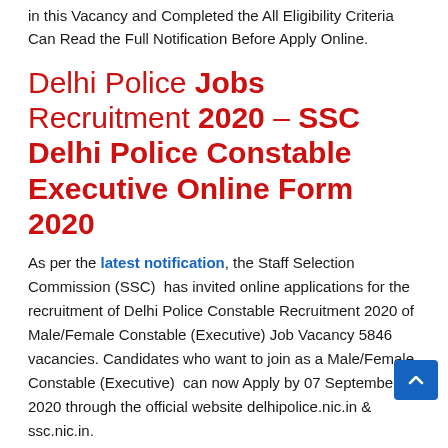in this Vacancy and Completed the All Eligibility Criteria Can Read the Full Notification Before Apply Online.
Delhi Police Jobs Recruitment 2020 – SSC Delhi Police Constable Executive Online Form 2020
As per the latest notification, the Staff Selection Commission (SSC) has invited online applications for the recruitment of Delhi Police Constable Recruitment 2020 of Male/Female Constable (Executive) Job Vacancy 5846 vacancies. Candidates who want to join as a Male/Female Constable (Executive) can now Apply by 07 September 2020 through the official website delhipolice.nic.in & ssc.nic.in.
Sarkari Result Career suggests to Job Seeker Who are Interested in this Vacancy and Completed the All Eligibility Criteria Can Read Full Notification Details of the Delhi Police vacancy Advt